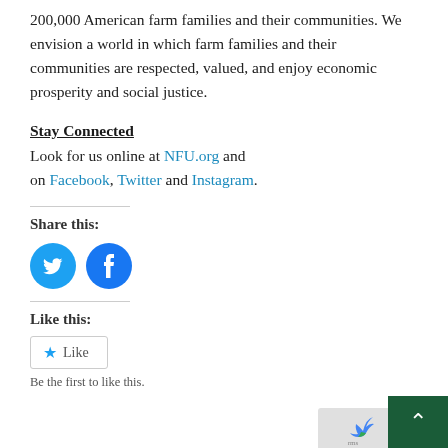200,000 American farm families and their communities. We envision a world in which farm families and their communities are respected, valued, and enjoy economic prosperity and social justice.
Stay Connected
Look for us online at NFU.org and on Facebook, Twitter and Instagram.
Share this:
[Figure (illustration): Two circular social media share buttons: Twitter (bird icon, blue) and Facebook (f icon, blue)]
Like this:
Like
Be the first to like this.